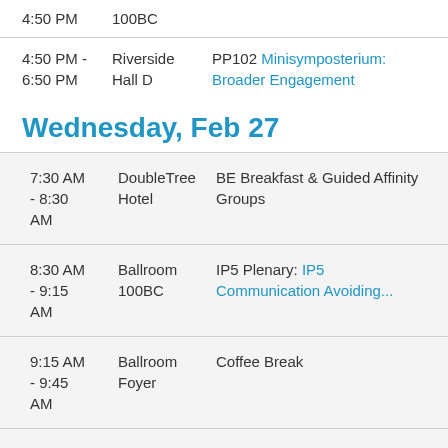| Time | Location | Event |
| --- | --- | --- |
| 4:50 PM | 100BC |  |
| 4:50 PM - 6:50 PM | Riverside Hall D | PP102 Minisymposterium: Broader Engagement |
Wednesday, Feb 27
| Time | Location | Event |
| --- | --- | --- |
| 7:30 AM - 8:30 AM | DoubleTree Hotel | BE Breakfast & Guided Affinity Groups |
| 8:30 AM - 9:15 AM | Ballroom 100BC | IP5 Plenary: IP5 Communication Avoiding... |
| 9:15 AM - 9:45 AM | Ballroom Foyer | Coffee Break |
| 9:45 AM - 11:25 | 301 | MS182 BE: GPU Accelerated Computing on Summit (Tutorial) |